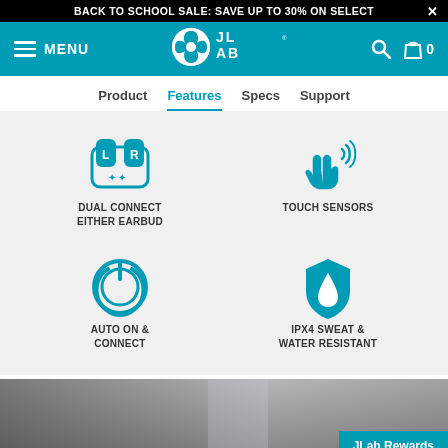BACK TO SCHOOL SALE: SAVE UP TO 30% ON SELECT
[Figure (logo): JLab Audio logo with navigation bar including MENU, search icon, and shopping bag with 0]
Product
Features
Specs
Support
[Figure (infographic): Four product feature icons in 2x2 grid: Dual Connect Either Earbud (earbuds L/R icon), Touch Sensors (hand with touch waves), Auto On & Connect (power button icon), IPX4 Sweat & Water Resistant (shield with water drop)]
[Figure (photo): Group of people smiling, with JLab Rewards badge in bottom right corner]